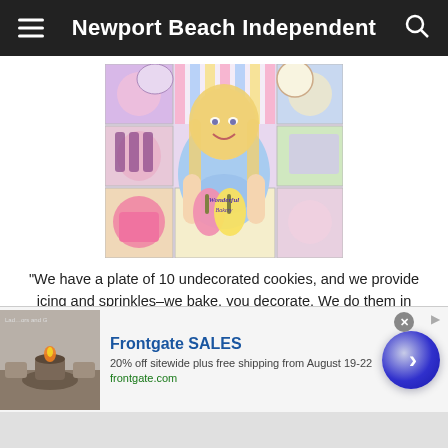Newport Beach Independent
[Figure (photo): A smiling blonde woman wearing a light blue 'Wonderful Bakery' shirt, holding large decorated cookies shaped like flip-flops (pink and yellow), surrounded by colorful bakery gift boxes and candy products on shelves behind her.]
“We have a plate of 10 undecorated cookies, and we provide icing and sprinkles–we bake, you decorate. We do them in
[Figure (screenshot): Frontgate SALES advertisement banner: '20% off sitewide plus free shipping from August 19-22 frontgate.com' with an image of outdoor fire pit furniture and a blue circular arrow button.]